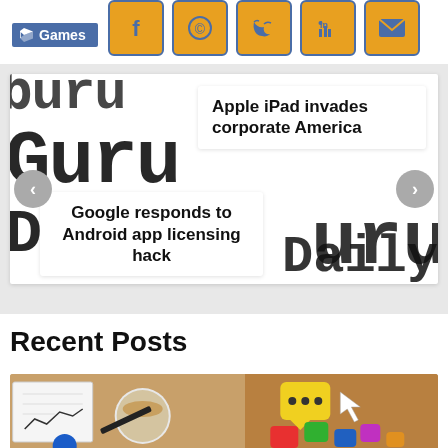[Figure (other): Games category tag with tag icon on blue background]
[Figure (other): Row of 5 social sharing icons: Facebook, WhatsApp, Twitter, LinkedIn, Email — orange square buttons with blue borders]
[Figure (other): News article carousel showing blurred Guru Daily masthead background with two overlaid article cards: 'Apple iPad invades corporate America' and 'Google responds to Android app licensing hack', with left/right navigation arrows]
Recent Posts
[Figure (photo): Photo showing a desk scene with notepad, coffee cup, and colorful chat/message icons on a wooden table]